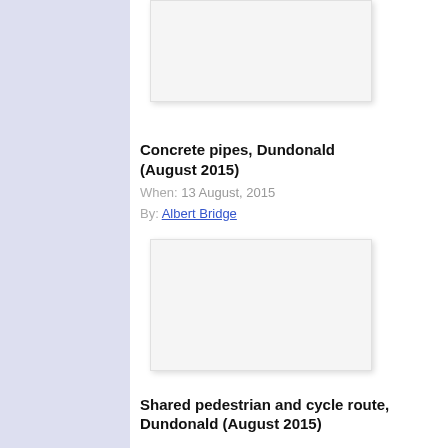[Figure (photo): Placeholder image box at top of page (partially visible)]
Concrete pipes, Dundonald (August 2015)
When: 13 August, 2015
By: Albert Bridge
[Figure (photo): Placeholder image box for Concrete pipes, Dundonald (August 2015)]
Shared pedestrian and cycle route, Dundonald (August 2015)